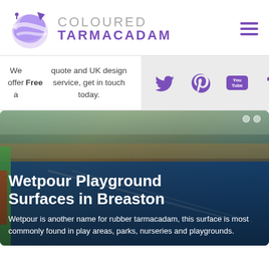[Figure (logo): Coloured Tarmacadam logo with purple globe/arrow icon and text 'COLOURED TARMACADAM']
We offer a Free quote and UK design service, get in touch today.
[Figure (infographic): Social media icons: Twitter, Pinterest, YouTube, Tumblr in purple on light grey background]
[Figure (photo): Wetpour playground surface in Breaston — playground area with blue rubber surface, garden fence and trees in background]
Wetpour Playground Surfaces in Breaston
Wetpour is another name for rubber tarmacadam, this surface is most commonly found in play areas, parks, nurseries and playgrounds.